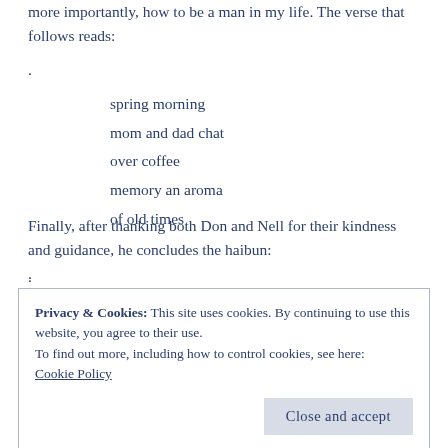more importantly, how to be a man in my life. The verse that follows reads:
.
spring morning
mom and dad chat
over coffee
memory an aroma
of old times
.
Finally, after thanking both Don and Nell for their kindness and guidance, he concludes the haibun:
.
Privacy & Cookies: This site uses cookies. By continuing to use this website, you agree to their use.
To find out more, including how to control cookies, see here:
Cookie Policy
Close and accept